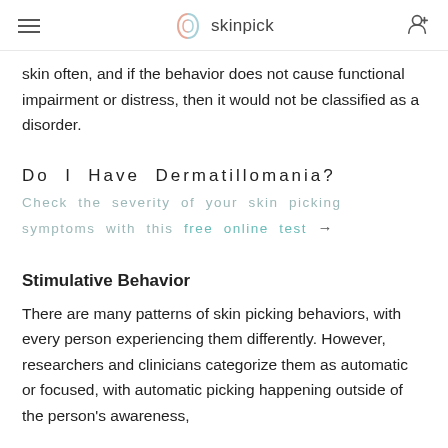skinpick
skin often, and if the behavior does not cause functional impairment or distress, then it would not be classified as a disorder.
Do I Have Dermatillomania?
Check the severity of your skin picking symptoms with this free online test →
Stimulative Behavior
There are many patterns of skin picking behaviors, with every person experiencing them differently. However, researchers and clinicians categorize them as automatic or focused, with automatic picking happening outside of the person's awareness,